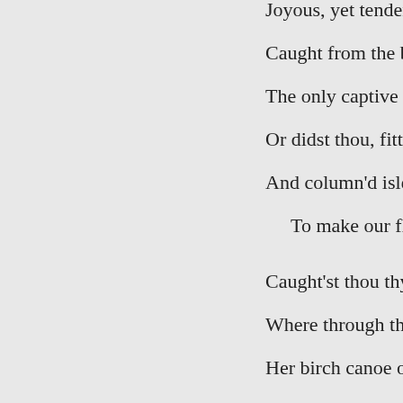Joyous, yet tender, was that gus
Caught from the brooks, where 'r
The only captive to such sweet b
Or didst thou, fitting through the
And column'd isles of western gr
To make our flowering pasture
Caught'st thou thy carol from Ott
Where through the liquid fields d
Her birch canoe o'er some lone la
Detain thee while thy northern fl
The spice-fed winds had taught t
Unthrifty prodigal! is no thought
Thy ceaseless roundelay d
Or doth each pulse in choiri
Throb on in music till at re
Yet now in 'wilder'd maze o
'Twould seem that glorious b